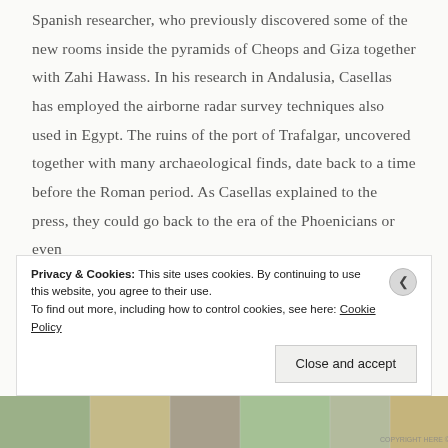Spanish researcher, who previously discovered some of the new rooms inside the pyramids of Cheops and Giza together with Zahi Hawass. In his research in Andalusia, Casellas has employed the airborne radar survey techniques also used in Egypt. The ruins of the port of Trafalgar, uncovered together with many archaeological finds, date back to a time before the Roman period. As Casellas explained to the press, they could go back to the era of the Phoenicians or even
Privacy & Cookies: This site uses cookies. By continuing to use this website, you agree to their use. To find out more, including how to control cookies, see here: Cookie Policy
Close and accept
[Figure (photo): Bottom strip of thumbnail images partially visible at the bottom of the page, showing outdoor/landscape scenes in muted colors.]